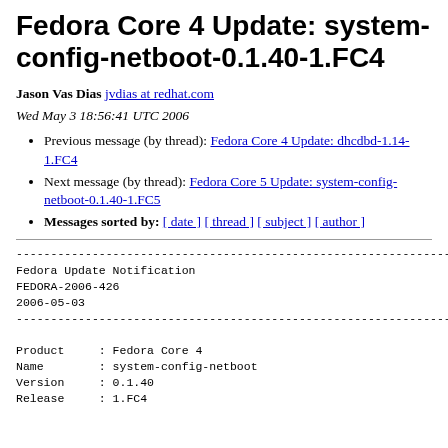Fedora Core 4 Update: system-config-netboot-0.1.40-1.FC4
Jason Vas Dias jvdias at redhat.com
Wed May 3 18:56:41 UTC 2006
Previous message (by thread): Fedora Core 4 Update: dhcdbd-1.14-1.FC4
Next message (by thread): Fedora Core 5 Update: system-config-netboot-0.1.40-1.FC5
Messages sorted by: [ date ] [ thread ] [ subject ] [ author ]
--------------------------------------------------------------------------------
Fedora Update Notification
FEDORA-2006-426
2006-05-03
--------------------------------------------------------------------------------

Product     : Fedora Core 4
Name        : system-config-netboot
Version     : 0.1.40
Release     : 1.FC4